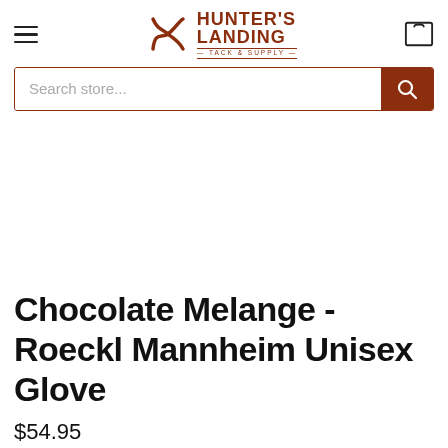Hunter's Landing — Tack & Supply
[Figure (logo): Hunter's Landing Tack & Supply logo with stylized H icon in brown/red]
Search store...
Chocolate Melange - Roeckl Mannheim Unisex Glove
$54.95
Chocolate Melange - Roeckl Mannheim Unisex Glove
Add to Cart